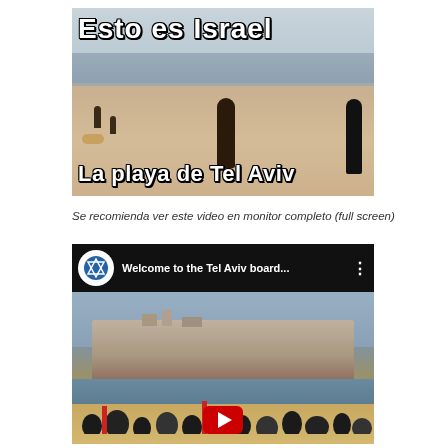[Figure (photo): Beach scene with text overlays. Top text reads 'Esto es Israel' and bottom text reads 'La playa de Tel Aviv'. People visible on a sandy beach with ocean in background.]
Se recomienda ver este video en monitor completo (full screen)
[Figure (screenshot): YouTube video embed showing 'Welcome to the Tel Aviv board...' with a Star of David icon, and a thumbnail showing Tel Aviv cityscape and beach with crowd at bottom and red play button.]